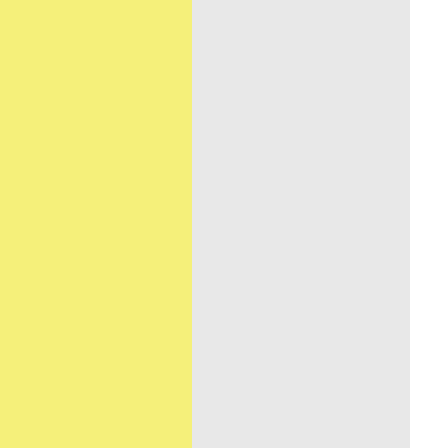[Figure (other): Yellow textured paper panel on the left side of the page]
[Figure (other): Light gray panel in the center-right area, with a white tab/flap in the upper right corner]
Part of the reason for this, and all the lost